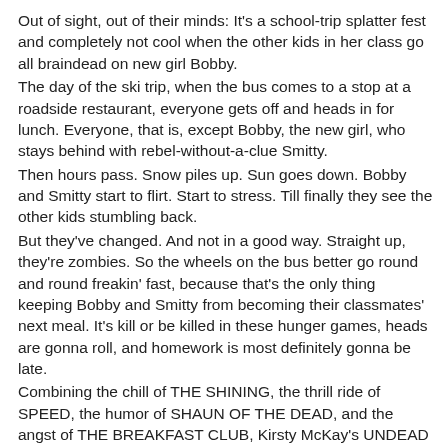Out of sight, out of their minds: It's a school-trip splatter fest and completely not cool when the other kids in her class go all braindead on new girl Bobby.
The day of the ski trip, when the bus comes to a stop at a roadside restaurant, everyone gets off and heads in for lunch. Everyone, that is, except Bobby, the new girl, who stays behind with rebel-without-a-clue Smitty.
Then hours pass. Snow piles up. Sun goes down. Bobby and Smitty start to flirt. Start to stress. Till finally they see the other kids stumbling back.
But they've changed. And not in a good way. Straight up, they're zombies. So the wheels on the bus better go round and round freakin' fast, because that's the only thing keeping Bobby and Smitty from becoming their classmates' next meal. It's kill or be killed in these hunger games, heads are gonna roll, and homework is most definitely gonna be late.
Combining the chill of THE SHINING, the thrill ride of SPEED, the humor of SHAUN OF THE DEAD, and the angst of THE BREAKFAST CLUB, Kirsty McKay's UNDEAD is a bloody mad mash-up, a school-trip splatter-fest, a funny, gory, frighteningly good debut